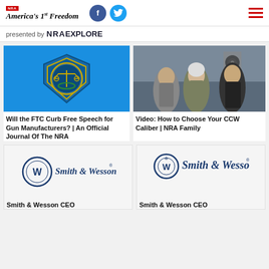NRA America's 1st Freedom
presented by NRAEXPLORE
[Figure (screenshot): FTC seal/emblem on blue background]
Will the FTC Curb Free Speech for Gun Manufacturers? | An Official Journal Of The NRA
[Figure (photo): Three people standing at a shooting range]
Video: How to Choose Your CCW Caliber | NRA Family
[Figure (logo): Smith & Wesson logo on light background]
Smith & Wesson CEO
[Figure (logo): Smith & Wesson logo on light background]
Smith & Wesson CEO